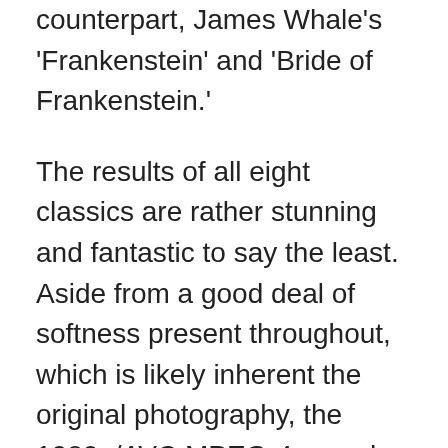counterpart, James Whale's 'Frankenstein' and 'Bride of Frankenstein.'
The results of all eight classics are rather stunning and fantastic to say the least. Aside from a good deal of softness present throughout, which is likely inherent the original photography, the 1080p/AVC MPEG-4 encode of each film reveals plenty of visible information in the set design with remarkably sharp detailing in the hair and costumes. A fine layer of film grain is faithfully preserved and consistent, giving these high-def presentations an appreciable cinematic appeal. Facial complexions display great lifelike textures, exposing wrinkles and pores in a variety of sequences. Contrast and brightness are well-balanced and spot-on with rich, inky blacks throughout, providing the movies with plenty of